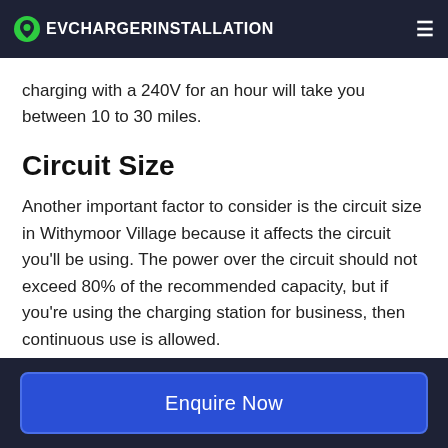EVCHARGERINSTALLATION
charging with a 240V for an hour will take you between 10 to 30 miles.
Circuit Size
Another important factor to consider is the circuit size in Withymoor Village because it affects the circuit you'll be using. The power over the circuit should not exceed 80% of the recommended capacity, but if you're using the charging station for business, then continuous use is allowed.
Try to charge at a slower rate as well because it
Enquire Now